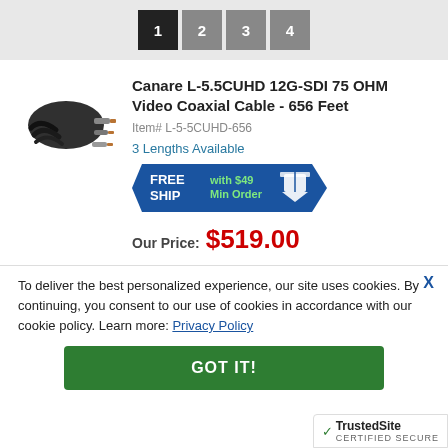1 2 3 4
Canare L-5.5CUHD 12G-SDI 75 OHM Video Coaxial Cable - 656 Feet
Item# L-5-5CUHD-656
3 Lengths Available
[Figure (infographic): FREE SHIP with $49 Min Order banner with box icon]
Our Price: $519.00
To deliver the best personalized experience, our site uses cookies. By continuing, you consent to our use of cookies in accordance with our cookie policy. Learn more: Privacy Policy
GOT IT!
[Figure (logo): TrustedSite CERTIFIED SECURE badge]